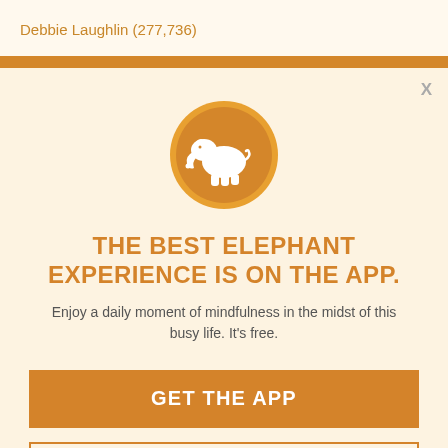Debbie Laughlin (277,736)
X
[Figure (logo): Orange circle with white elephant silhouette logo]
THE BEST ELEPHANT EXPERIENCE IS ON THE APP.
Enjoy a daily moment of mindfulness in the midst of this busy life. It's free.
GET THE APP
OPEN IN APP